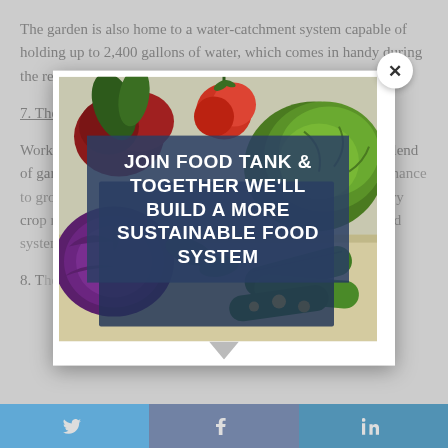The garden is also home to a water-catchment system capable of holding up to 2,400 gallons of water, which comes in handy during the relatively dry conditions.
7. The Green Bridge Growers Aquaponics Garden
Working with local youth, the farm connects students with a blend of gardening and aquaponic growing gardens, giving them a chance to grow a variety of crops, learn about sustainable agriculture and alternative food systems.
8. The...
[Figure (infographic): Promotional image of vegetables (beets, cabbage, cucumbers, purple cabbage) with overlaid text: JOIN FOOD TANK & TOGETHER WE'LL BUILD A MORE SUSTAINABLE FOOD SYSTEM. Modal popup with close (X) button.]